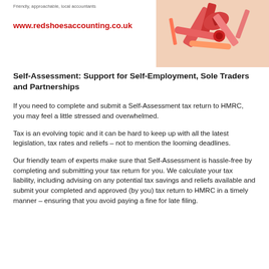Friendly, approachable, local accountants
www.redshoesaccounting.co.uk
[Figure (photo): Close-up of red office/stationery items including scissors and tape dispenser on a light background]
Self-Assessment: Support for Self-Employment, Sole Traders and Partnerships
If you need to complete and submit a Self-Assessment tax return to HMRC, you may feel a little stressed and overwhelmed.
Tax is an evolving topic and it can be hard to keep up with all the latest legislation, tax rates and reliefs – not to mention the looming deadlines.
Our friendly team of experts make sure that Self-Assessment is hassle-free by completing and submitting your tax return for you. We calculate your tax liability, including advising on any potential tax savings and reliefs available and submit your completed and approved (by you) tax return to HMRC in a timely manner – ensuring that you avoid paying a fine for late filing.